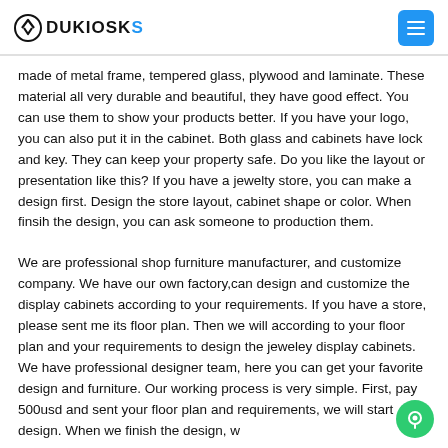DUKIOSKS
made of metal frame, tempered glass, plywood and laminate. These material all very durable and beautiful, they have good effect. You can use them to show your products better. If you have your logo, you can also put it in the cabinet. Both glass and cabinets have lock and key. They can keep your property safe. Do you like the layout or presentation like this? If you have a jewelty store, you can make a design first. Design the store layout, cabinet shape or color. When finsih the design, you can ask someone to production them.
We are professional shop furniture manufacturer, and customize company. We have our own factory,can design and customize the display cabinets according to your requirements. If you have a store, please sent me its floor plan. Then we will according to your floor plan and your requirements to design the jeweley display cabinets. We have professional designer team, here you can get your favorite design and furniture. Our working process is very simple. First, pay 500usd and sent your floor plan and requirements, we will start design. When we finish the design, we will then ...